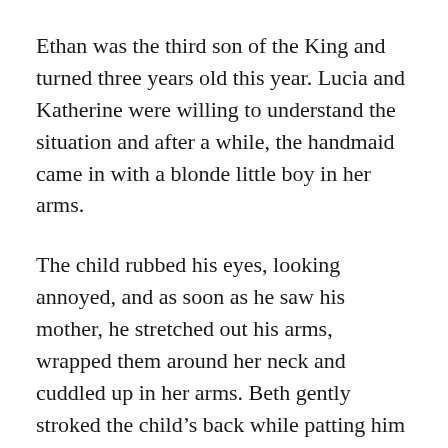Ethan was the third son of the King and turned three years old this year. Lucia and Katherine were willing to understand the situation and after a while, the handmaid came in with a blonde little boy in her arms.
The child rubbed his eyes, looking annoyed, and as soon as he saw his mother, he stretched out his arms, wrapped them around her neck and cuddled up in her arms. Beth gently stroked the child's back while patting him and kissed his forehead.
The sight of a mother pouring out her love onto her child was more beautiful than the smile of an enchanting beauty. It was sublime and mysterious. Lucia remembered her late mother. She remembered her mother hugging her